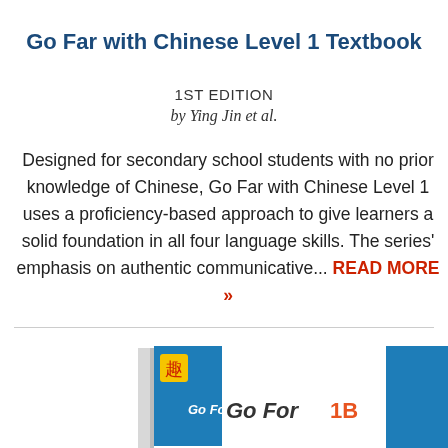Go Far with Chinese Level 1 Textbook
1ST EDITION
by Ying Jin et al.
Designed for secondary school students with no prior knowledge of Chinese, Go Far with Chinese Level 1 uses a proficiency-based approach to give learners a solid foundation in all four language skills. The series' emphasis on authentic communicative... READ MORE »
[Figure (photo): Partial view of Go Far with Chinese Level 1 textbook cover showing teal/blue book spine and partial logo text 'Go Far 1B']